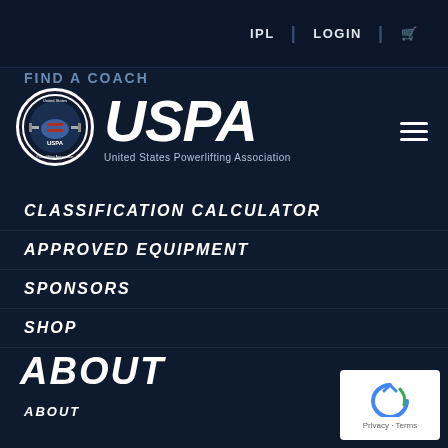IPL | LOGIN | [cart]
FIND A COACH
[Figure (logo): USPA United States Powerlifting Association circular logo with American flag and barbell, next to large USPA text]
CLASSIFICATION CALCULATOR
APPROVED EQUIPMENT
SPONSORS
SHOP
ABOUT
ABOUT